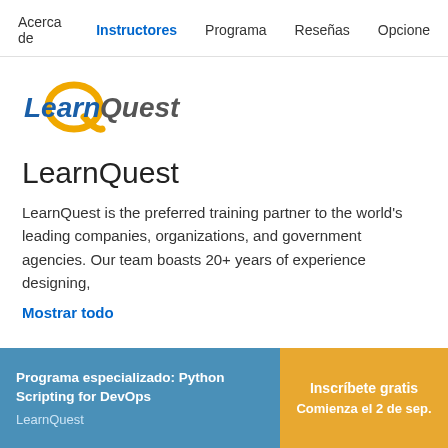Acerca de  Instructores  Programa  Reseñas  Opcione
[Figure (logo): LearnQuest logo with yellow swirl and blue italic text]
LearnQuest
LearnQuest is the preferred training partner to the world's leading companies, organizations, and government agencies. Our team boasts 20+ years of experience designing,
Mostrar todo
Programa especializado: Python Scripting for DevOps
LearnQuest
Inscríbete gratis
Comienza el 2 de sep.